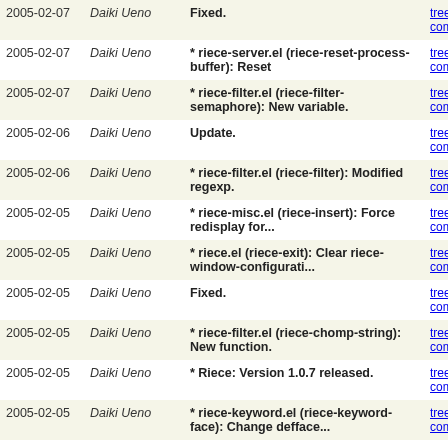| Date | Author | Message | Links |
| --- | --- | --- | --- |
| 2005-02-07 | Daiki Ueno | Fixed. | tree | commitdiff |
| 2005-02-07 | Daiki Ueno | * riece-server.el (riece-reset-process-buffer): Reset | tree | commitdiff |
| 2005-02-07 | Daiki Ueno | * riece-filter.el (riece-filter-semaphore): New variable. | tree | commitdiff |
| 2005-02-06 | Daiki Ueno | Update. | tree | commitdiff |
| 2005-02-06 | Daiki Ueno | * riece-filter.el (riece-filter): Modified regexp. | tree | commitdiff |
| 2005-02-05 | Daiki Ueno | * riece-misc.el (riece-insert): Force redisplay for... | tree | commitdiff |
| 2005-02-05 | Daiki Ueno | * riece.el (riece-exit): Clear riece-window-configurati... | tree | commitdiff |
| 2005-02-05 | Daiki Ueno | Fixed. | tree | commitdiff |
| 2005-02-05 | Daiki Ueno | * riece-filter.el (riece-chomp-string): New function. | tree | commitdiff |
| 2005-02-05 | Daiki Ueno | * Riece: Version 1.0.7 released. | tree | commitdiff |
| 2005-02-05 | Daiki Ueno | * riece-keyword.el (riece-keyword-face): Change defface... | tree | commitdiff |
| 2005-02-05 | Daiki Ueno | * riece-toolbar.el (riece-toolbar-description): New... | tree | commitdiff |
| 2005-02-05 | Daiki Ueno | * riece-keepalive.el: Require 'riece-options. | tree | commitdiff |
| 2005-... | Daiki Ueno | Update. | tree |